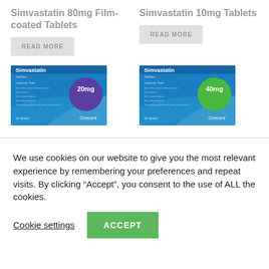Simvastatin 80mg Film-coated Tablets
Simvastatin 10mg Tablets
READ MORE
READ MORE
[Figure (photo): Simvastatin Tablets 20mg package — blue box with purple circle, Crescent brand]
[Figure (photo): Simvastatin Tablets 40mg package — blue box with green circle, Crescent brand]
We use cookies on our website to give you the most relevant experience by remembering your preferences and repeat visits. By clicking “Accept”, you consent to the use of ALL the cookies.
Cookie settings
ACCEPT